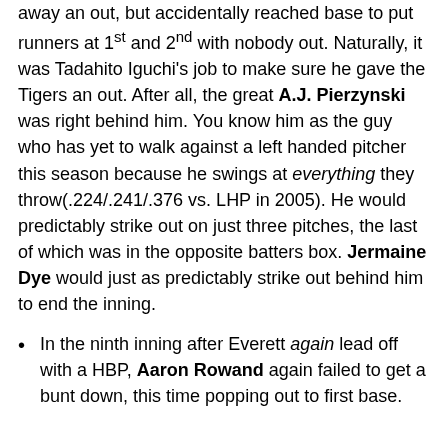away an out, but accidentally reached base to put runners at 1st and 2nd with nobody out. Naturally, it was Tadahito Iguchi's job to make sure he gave the Tigers an out. After all, the great A.J. Pierzynski was right behind him. You know him as the guy who has yet to walk against a left handed pitcher this season because he swings at everything they throw(.224/.241/.376 vs. LHP in 2005). He would predictably strike out on just three pitches, the last of which was in the opposite batters box. Jermaine Dye would just as predictably strike out behind him to end the inning.
In the ninth inning after Everett again lead off with a HBP, Aaron Rowand again failed to get a bunt down, this time popping out to first base.